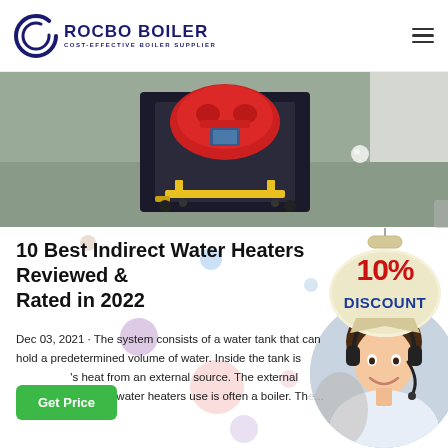[Figure (logo): Rocbo Boiler logo with circular icon and text 'ROCBO BOILER / COST-EFFECTIVE BOILER SUPPLIER']
[Figure (photo): Industrial boiler on a pallet jack inside a warehouse/factory space]
10 Best Indirect Water Heaters Reviewed & Rated in 2022
[Figure (infographic): 10% DISCOUNT badge in red and blue text on cream/tan medallion background]
Dec 03, 2021 · The system consists of a water tank that can hold a predetermined volume of water. Inside the tank is [coil that transfers] heat from an external source. The external source that indirect water heaters use is often a boiler. Th[e...]
[Figure (photo): Customer service agent woman wearing headset, smiling, circular cropped photo]
Get Price